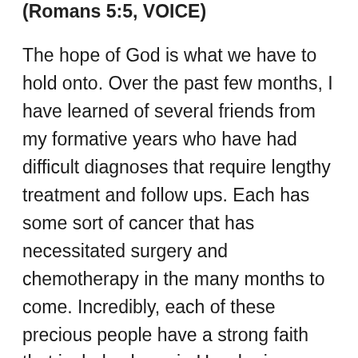(Romans 5:5, VOICE)
The hope of God is what we have to hold onto. Over the past few months, I have learned of several friends from my formative years who have had difficult diagnoses that require lengthy treatment and follow ups. Each has some sort of cancer that has necessitated surgery and chemotherapy in the many months to come. Incredibly, each of these precious people have a strong faith that includes hope in He who is our Healer. Looking at the clouds and ocean this morning, the image I captured seems to provide a visual of what is going on. If you look only at the horizon, a storm is evident and the rain in the distance appears to be coming down…